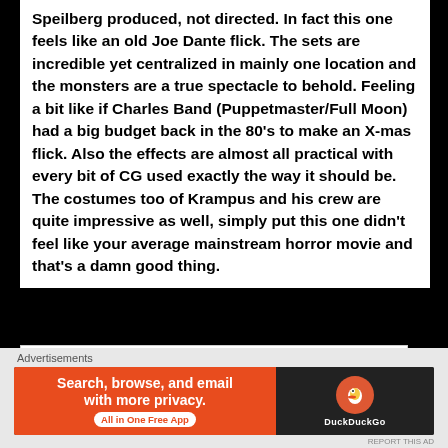Speilberg produced, not directed. In fact this one feels like an old Joe Dante flick. The sets are incredible yet centralized in mainly one location and the monsters are a true spectacle to behold. Feeling a bit like if Charles Band (Puppetmaster/Full Moon) had a big budget back in the 80's to make an X-mas flick. Also the effects are almost all practical with every bit of CG used exactly the way it should be. The costumes too of Krampus and his crew are quite impressive as well, simply put this one didn't feel like your average mainstream horror movie and that's a damn good thing.
[Figure (other): Broken image placeholder icon — a small document icon with a torn corner indicating a failed image load]
Advertisements
[Figure (screenshot): DuckDuckGo advertisement banner: orange left panel reading 'Search, browse, and email with more privacy. All in One Free App', dark right panel with DuckDuckGo logo and brand name]